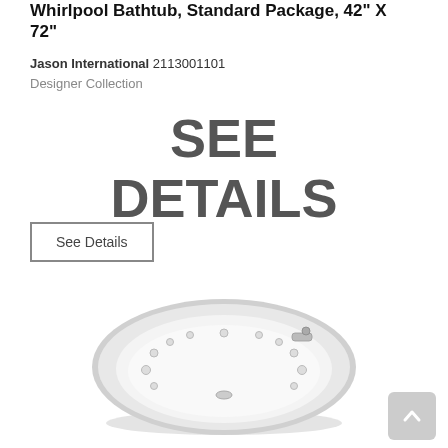Whirlpool Bathtub, Standard Package, 42" X 72"
Jason International 2113001101
Designer Collection
SEE DETAILS
See Details
[Figure (photo): Overhead view of a white oval whirlpool bathtub with jets, standard package, 42" x 72", with chrome faucet hardware]